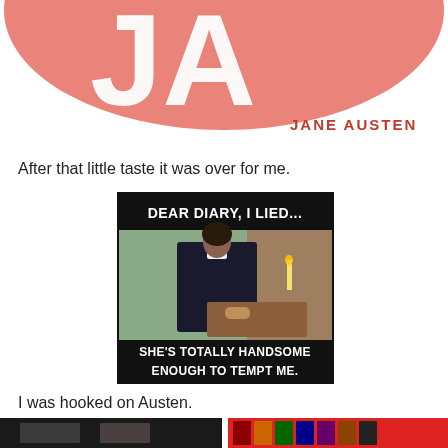[Figure (logo): Partial Jane Austen logo in salmon/coral color with white letters, text 'JANE AUSTEN' and watermark 'FauxFanLove']
After that little taste it was over for me.
[Figure (photo): Meme image with black background. Top text: 'DEAR DIARY, I LIED...' Center: photo of a man in period costume (Colin Firth as Mr. Darcy) writing at a desk with a candle. Bottom text: 'SHE'S TOTALLY HANDSOME ENOUGH TO TEMPT ME.']
I was hooked on Austen.
[Figure (photo): Two partial images side by side at the bottom of the page: left shows a dark interior scene, right shows colorful spines of books]